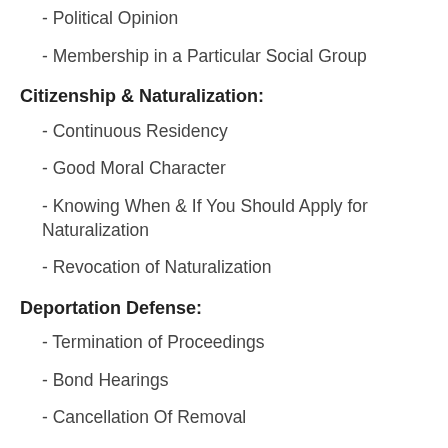- Political Opinion
- Membership in a Particular Social Group
Citizenship & Naturalization:
- Continuous Residency
- Good Moral Character
- Knowing When & If You Should Apply for Naturalization
- Revocation of Naturalization
Deportation Defense:
- Termination of Proceedings
- Bond Hearings
- Cancellation Of Removal
- Waivers in Removal Proceedings
- Appeals
- Motion to Reopen